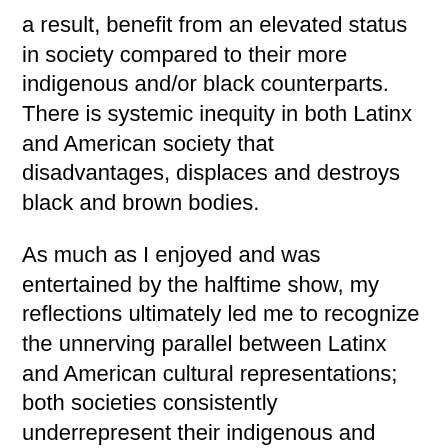a result, benefit from an elevated status in society compared to their more indigenous and/or black counterparts. There is systemic inequity in both Latinx and American society that disadvantages, displaces and destroys black and brown bodies.
As much as I enjoyed and was entertained by the halftime show, my reflections ultimately led me to recognize the unnerving parallel between Latinx and American cultural representations; both societies consistently underrepresent their indigenous and black communities while ignoring the struggles and disadvantages that are tethered to their intersectional identities.
The Latinx representation in the halftime show wasn't just problematic in who was featured as Latinx, but also in the way it's positioning in the halftime show...